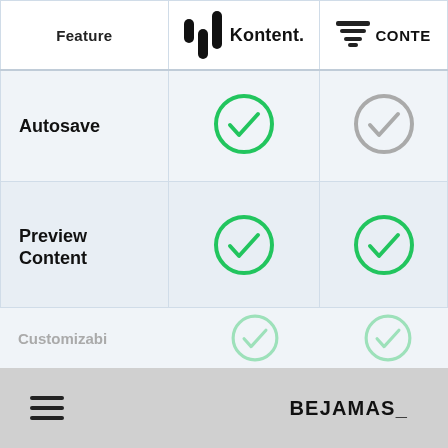| Feature | Kontent. | CONTE… |
| --- | --- | --- |
| Autosave | ✓ | ✓ |
| Preview Content | ✓ | ✓ |
| Multiple Environments | ✓ | ✓ |
| Workflow | ✓ | ✓ |
BEJAMAS_